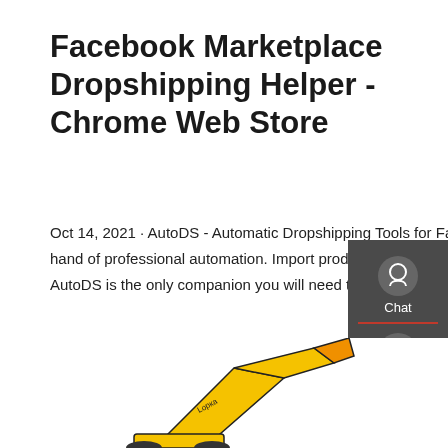Facebook Marketplace Dropshipping Helper - Chrome Web Store
Oct 14, 2021 · AutoDS - Automatic Dropshipping Tools for Facebook Marketplace Sell dropshipping products with the helping hand of professional automation. Import products and accept sales using any of 25+ supported US, EU & CN suppliers. AutoDS is the only companion you will need to rise to the top of the Facebook Marketplace dropshipping world.
[Figure (screenshot): UI sidebar panel with Chat, Email, and Contact icons on dark grey background. Red divider lines between items.]
[Figure (photo): Bottom portion of a yellow construction excavator/crane arm on white background.]